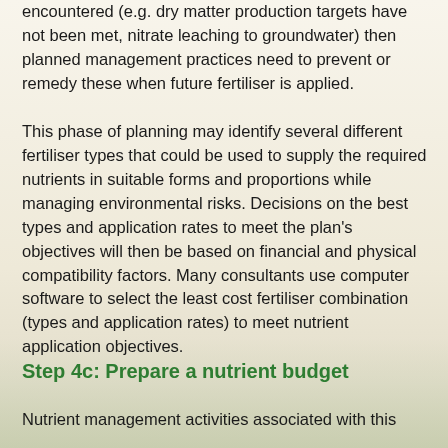encountered (e.g. dry matter production targets have not been met, nitrate leaching to groundwater) then planned management practices need to prevent or remedy these when future fertiliser is applied.
This phase of planning may identify several different fertiliser types that could be used to supply the required nutrients in suitable forms and proportions while managing environmental risks. Decisions on the best types and application rates to meet the plan's objectives will then be based on financial and physical compatibility factors. Many consultants use computer software to select the least cost fertiliser combination (types and application rates) to meet nutrient application objectives.
Step 4c: Prepare a nutrient budget
Nutrient management activities associated with this